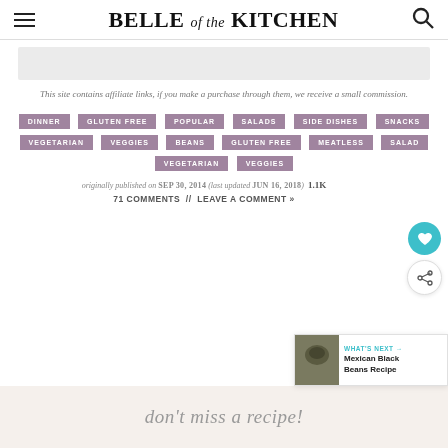BELLE of the KITCHEN
[Figure (other): Gray advertisement placeholder banner]
This site contains affiliate links, if you make a purchase through them, we receive a small commission.
DINNER
GLUTEN FREE
POPULAR
SALADS
SIDE DISHES
SNACKS
VEGETARIAN
VEGGIES
BEANS
GLUTEN FREE
MEATLESS
SALAD
VEGETARIAN
VEGGIES
originally published on SEP 30, 2014 (last updated JUN 16, 2018) 1.1K
71 COMMENTS // LEAVE A COMMENT »
[Figure (other): What's Next banner showing Mexican Black Beans Recipe thumbnail]
don't miss a recipe!